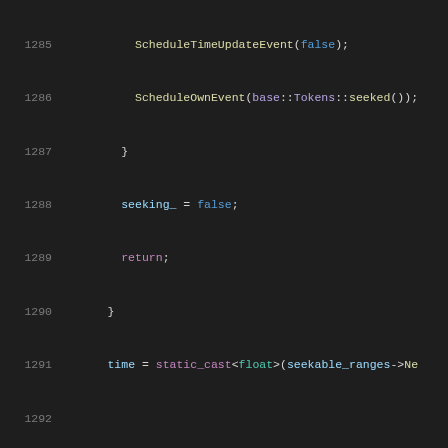[Figure (screenshot): Source code editor showing C++ code lines 1285-1306 with syntax highlighting on dark background. Code shows seek/playback logic including ScheduleTimeUpdateEvent, ScheduleOwnEvent, seeking_, return, static_cast, if/playing_ block, AddPlayedRange, last_seek_time_, sent_end_event_, player_->Seek, and comments about playback position and queue task.]